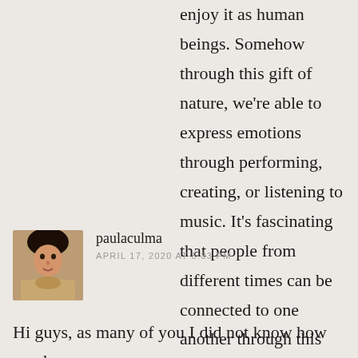enjoy it as human beings. Somehow through this gift of nature, we're able to express emotions through performing, creating, or listening to music. It's fascinating that people from different times can be connected to one another through this ethereal medium. I hope that music sticks around and that future audiences can be just as moved by sounds as we can be in the current day and age.
★ Liked by 1 person
paulaculma
APRIL 17, 2020 AT 8:33 PM
Hi guys, as many of you I did not know how much